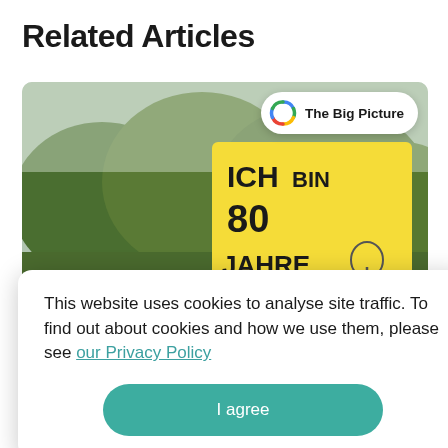Related Articles
[Figure (photo): A child holding a yellow protest sign reading 'ICH BIN 80 JAHRE HIER!' with drawings of a tree and flower, set against green trees background. A 'The Big Picture' badge overlays the top right.]
This website uses cookies to analyse site traffic. To find out about cookies and how we use them, please see our Privacy Policy
I agree
University of Bonn, debates German 'nonsonso' ideas vs. climate action bargains